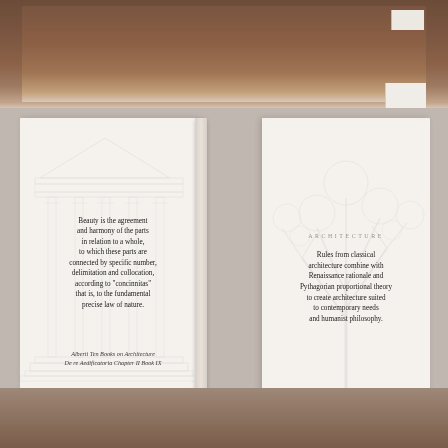[Figure (photo): Top portion: close-up photo of a wooden table surface with scattered white paper/book pages visible at top right. Warm brown wood grain texture.]
[Figure (photo): Bottom portion: An open book photographed from above, showing two decorated pages. Left page has faint architectural drawing (classical facade) watermark with a quote from Alberti. Right page has faint tree/botanical watermark with text about architecture combining classical rules with Renaissance rationale.]
Beauty is the agreement and harmony of the parts in relation to a whole, to which these parts are connected by specific number, delimitation and collocation, according to "concinnitas" that is, to the fundamental precise law of nature.
Alberti Ten Books on Architecture De re Aedificatoria Chapter II Book IX
ARCHITECTURE Rules from classical architecture combine with Renaissance rationale and Pythagorian proportional theory to create architecture suited to contemporary needs and humanist philosophy.